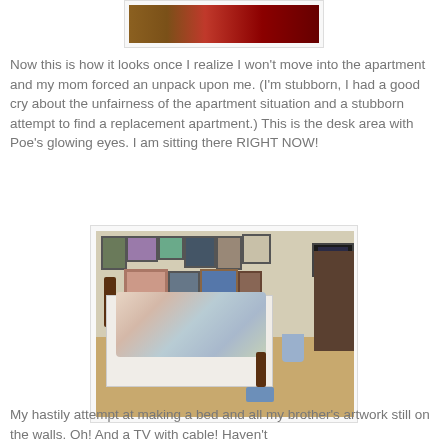[Figure (photo): Partial photo of a room/hallway showing floor with red rug and wooden furniture, cropped at top]
Now this is how it looks once I realize I won't move into the apartment and my mom forced an unpack upon me. (I'm stubborn, I had a good cry about the unfairness of the apartment situation and a stubborn attempt to find a replacement apartment.) This is the desk area with Poe's glowing eyes. I am sitting there RIGHT NOW!
[Figure (photo): Bedroom photo showing a bed with floral/colorful comforter, many framed pictures and artworks on the wall, a lamp, a dresser with TV on the right side, and a blue laundry basket]
My hastily attempt at making a bed and all my brother's artwork still on the walls. Oh! And a TV with cable! Haven't